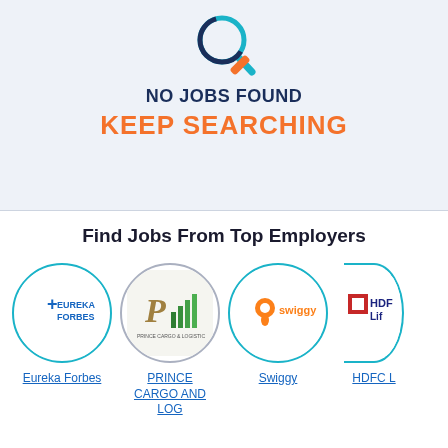[Figure (illustration): Magnifying glass icon with orange pencil handle on light blue background]
NO JOBS FOUND
KEEP SEARCHING
Find Jobs From Top Employers
[Figure (logo): Eureka Forbes company logo circle]
Eureka Forbes
[Figure (logo): Prince Cargo and Logistics company logo circle]
PRINCE CARGO AND LOG
[Figure (logo): Swiggy company logo circle]
Swiggy
[Figure (logo): HDFC Life company logo partial circle (cropped at right edge)]
HDFC L